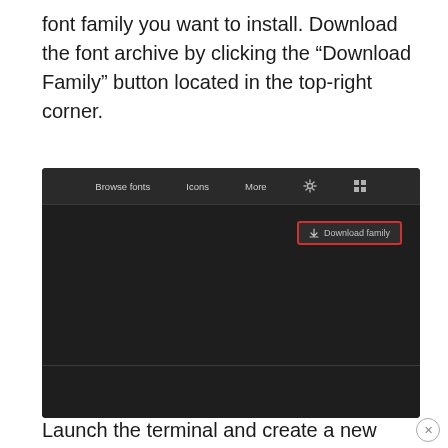font family you want to install. Download the font archive by clicking the “Download Family” button located in the top-right corner.
[Figure (screenshot): Screenshot of Google Fonts dark-themed interface showing navigation bar with 'Browse fonts', 'Icons', 'More', settings and grid icons, and a highlighted 'Download family' button with a red border in the top-right area. Below is a font preview area with a slider control showing '64px'.]
Launch the terminal and create a new directory to store